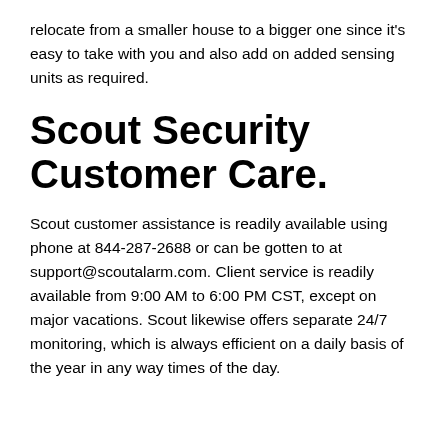relocate from a smaller house to a bigger one since it's easy to take with you and also add on added sensing units as required.
Scout Security Customer Care.
Scout customer assistance is readily available using phone at 844-287-2688 or can be gotten to at support@scoutalarm.com. Client service is readily available from 9:00 AM to 6:00 PM CST, except on major vacations. Scout likewise offers separate 24/7 monitoring, which is always efficient on a daily basis of the year in any way times of the day.